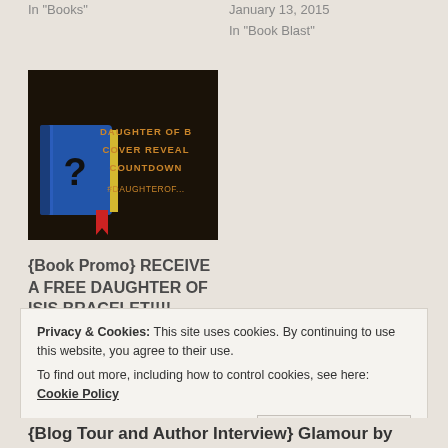In "Books"
January 13, 2015
In "Book Blast"
[Figure (photo): Dark book cover image with a blue book showing a question mark, text reading DAUGHTER OF B... COVER REVEAL COUNTDOWN #DAUGHTEROF...]
{Book Promo} RECEIVE A FREE DAUGHTER OF ISIS BRACELET!!!!
July 8, 2013
In "Book Promo"
Privacy & Cookies: This site uses cookies. By continuing to use this website, you agree to their use.
To find out more, including how to control cookies, see here: Cookie Policy
Close and accept
{Blog Tour and Author Interview} Glamour by